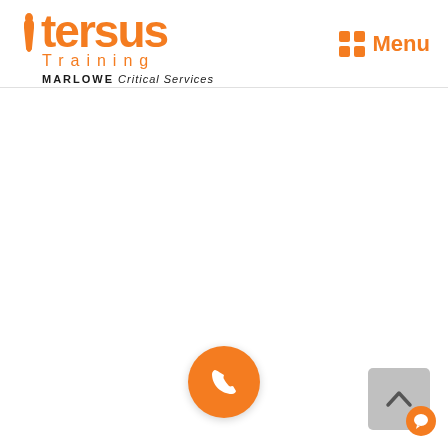tersus Training MARLOWE Critical Services — Menu
[Figure (screenshot): Tersus Training website header with logo and navigation menu icon]
[Figure (other): Orange circular phone/call button at bottom center]
[Figure (other): Grey back-to-top button with orange chat icon at bottom right]